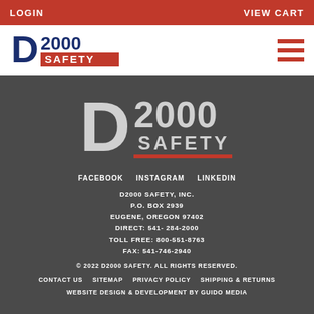LOGIN  VIEW CART
[Figure (logo): D2000 Safety logo in top navigation bar with red hamburger menu icon on right]
[Figure (logo): D2000 Safety large white/grey logo in footer area]
FACEBOOK   INSTAGRAM   LINKEDIN
D2000 SAFETY, INC.
P.O. BOX 2939
EUGENE, OREGON 97402
DIRECT: 541-284-2000
TOLL FREE: 800-551-8763
FAX: 541-746-2940
© 2022 D2000 SAFETY. ALL RIGHTS RESERVED.
CONTACT US   SITEMAP   PRIVACY POLICY   SHIPPING & RETURNS
WEBSITE DESIGN & DEVELOPMENT BY GUIDO MEDIA